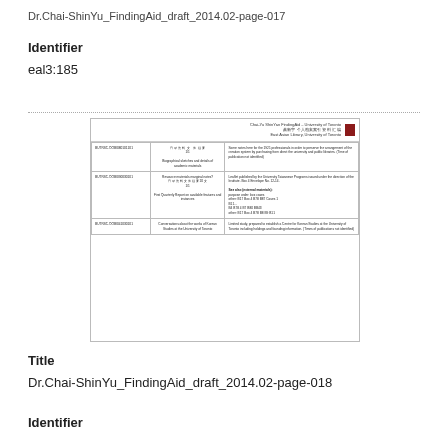Dr.Chai-ShinYu_FindingAid_draft_2014.02-page-017
Identifier
eal3:185
[Figure (other): Thumbnail image of a document page from the Chai-ShinYu Finding Aid, showing a table with three rows of archival entries with columns for identifier, description, and notes. The document has a university header with a red logo.]
Title
Dr.Chai-ShinYu_FindingAid_draft_2014.02-page-018
Identifier